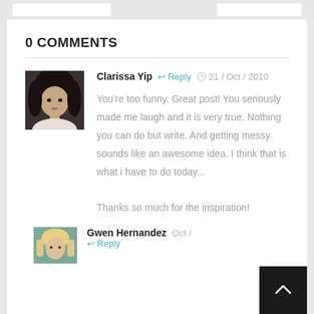0 COMMENTS
[Figure (photo): Portrait photo of Clarissa Yip, a woman with dark hair]
Clarissa Yip  Reply  21 / Oct / 2010
You're too funny. Great post! You seriously made me laugh and it is very true. Nothing you can do but write. And getting messy sounds like an awesome idea. I think that is what i have to do today...

Thanks so much for the inspiration!
[Figure (photo): Portrait photo of Gwen Hernandez, a woman with blonde hair]
Gwen Hernandez  Reply  Oct / ...